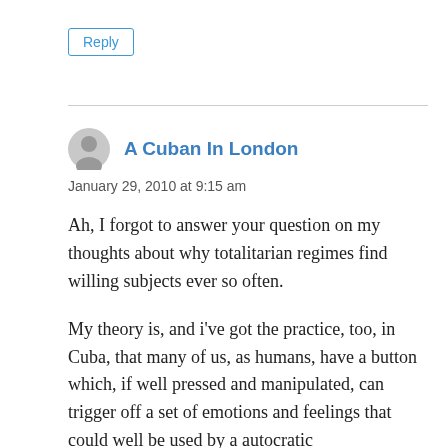Reply
A Cuban In London
January 29, 2010 at 9:15 am
Ah, I forgot to answer your question on my thoughts about why totalitarian regimes find willing subjects ever so often.
My theory is, and i've got the practice, too, in Cuba, that many of us, as humans, have a button which, if well pressed and manipulated, can trigger off a set of emotions and feelings that could well be used by a autocratic